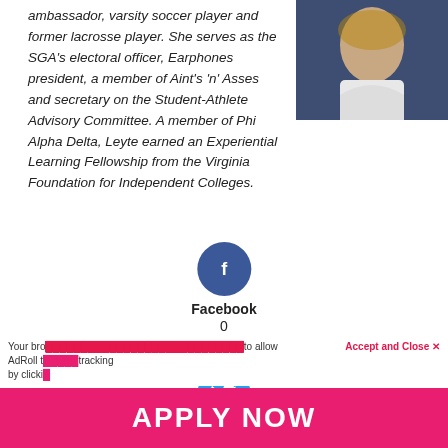ambassador, varsity soccer player and former lacrosse player. She serves as the SGA's electoral officer, Earphones president, a member of Aint's 'n' Asses and secretary on the Student-Athlete Advisory Committee. A member of Phi Alpha Delta, Leyte earned an Experiential Learning Fellowship from the Virginia Foundation for Independent Colleges.
[Figure (photo): Portrait photo of a young woman smiling, light background]
[Figure (other): Facebook share button with circle icon, label 'Facebook', count '0']
[Figure (other): Twitter share button with circle icon, label 'Twitter']
Your browser does not allow AdRoll to use cookies. Click to allow AdRoll tracking by clicking Accept and Close.
Accept and Close ✕
APPLY NOW